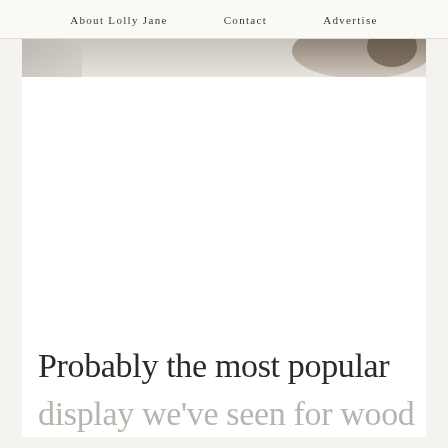About Lolly Jane   Contact   Advertise
[Figure (photo): Partial view of a grayscale/muted photo at the top of the content area, showing what appears to be a person or figure, cropped at the bottom of the image strip.]
Probably the most popular
display we've seen for wood